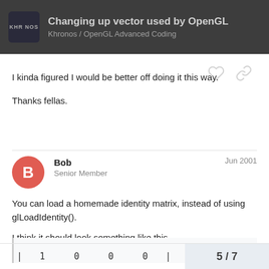Changing up vector used by OpenGL | Khronos OpenGL Advanced Coding
I kinda figured I would be better off doing it this way.

Thanks fellas.
Bob · Senior Member · Jun 2001
You can load a homemade identity matrix, instead of using glLoadIdentity().

I think it should look something like this.
| 1  0  0  0 |
5 / 7